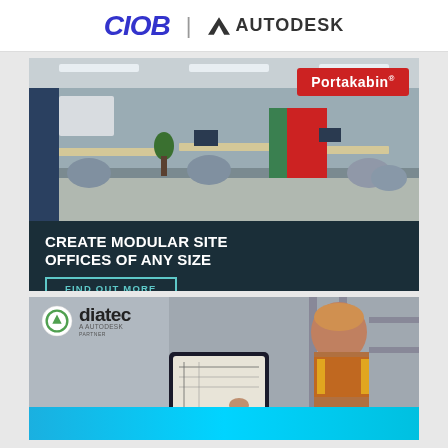CIOB | AUTODESK
[Figure (photo): Portakabin advertisement showing a modular office interior with desks, chairs, plants and workers. Red Portakabin logo badge in top right corner. Dark teal background with white headline text 'CREATE MODULAR SITE OFFICES OF ANY SIZE' and a teal-bordered button 'FIND OUT MORE'.]
[Figure (photo): Diatec (an Autodesk partner) advertisement showing a construction worker in orange high-vis jacket looking at a tablet with engineering drawings. Diatec logo in top left. Blue gradient banner at bottom.]